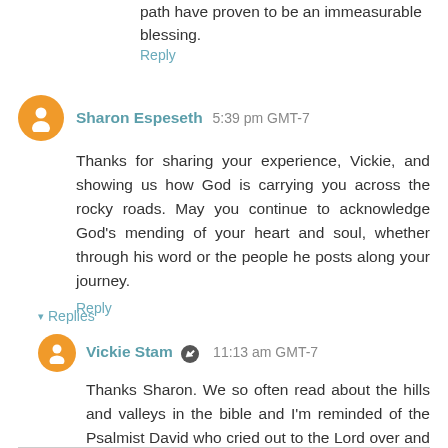path have proven to be an immeasurable blessing.
Reply
Sharon Espeseth 5:39 pm GMT-7
Thanks for sharing your experience, Vickie, and showing us how God is carrying you across the rocky roads. May you continue to acknowledge God's mending of your heart and soul, whether through his word or the people he posts along your journey.
Reply
▾ Replies
Vickie Stam 11:13 am GMT-7
Thanks Sharon. We so often read about the hills and valleys in the bible and I'm reminded of the Psalmist David who cried out to the Lord over and over.